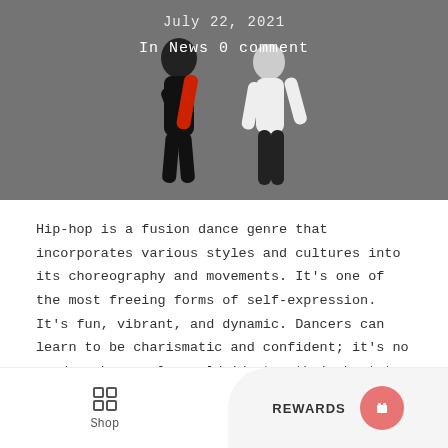[Figure (photo): Hero image showing two dancers in black athletic wear against a grey background. Text overlay shows 'July 22, 2021' and 'In News 0 comment'.]
In News 0 comment
Hip-hop is a fusion dance genre that incorporates various styles and cultures into its choreography and movements. It's one of the most freeing forms of self-expression. It's fun, vibrant, and dynamic. Dancers can learn to be charismatic and confident; it's no wonder why people worldwide try their best to learn it.
So if you're just starting, or maybe you've yet to attend your first class, you might be a little
Shop   Wishlist   Cart   Account